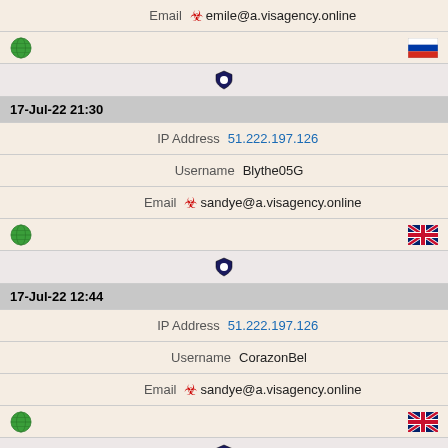| Email | emile@a.visagency.online |
| [globe icon] | [russia flag] |
| [shield icon] |  |
| 17-Jul-22 21:30 |  |
| IP Address | 51.222.197.126 |
| Username | Blythe05G |
| Email | sandye@a.visagency.online |
| [globe icon] | [uk flag] |
| [shield icon] |  |
| 17-Jul-22 12:44 |  |
| IP Address | 51.222.197.126 |
| Username | CorazonBel |
| Email | sandye@a.visagency.online |
| [globe icon] | [uk flag] |
| [shield icon] |  |
| 17-Jul-22 01:37 |  |
| IP Address | 51.222.197.126 |